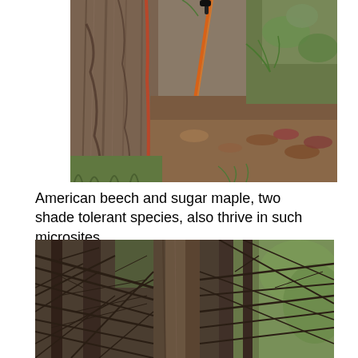[Figure (photo): Close-up photograph of a large tree trunk with rough bark on the left, an orange measuring tape or rope running diagonally, mossy rocks and ferns in the background, and leaf litter on the forest floor.]
American beech and sugar maple, two shade tolerant species, also thrive in such microsites.
[Figure (photo): Forest photograph showing a tall straight tree trunk in the center surrounded by dead branches and twigs of surrounding trees, with leafy green trees visible in the background.]